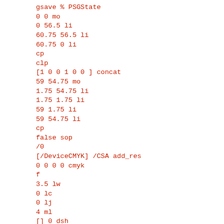gsave % PSGState
0 0 mo
0 56.5 li
60.75 56.5 li
60.75 0 li
cp
clp
[1 0 0 1 0 0 ] concat
59 54.75 mo
1.75 54.75 li
1.75 1.75 li
59 1.75 li
59 54.75 li
cp
false sop
/0
[/DeviceCMYK] /CSA add_res
0 0 0 0 cmyk
f
3.5 lw
0 lc
0 lj
4 ml
[] 0 dsh
true sadj
59 54.75 mo
1.75 54.75 li
1.75 1.75 li
59 1.75 li
59 54.75 li